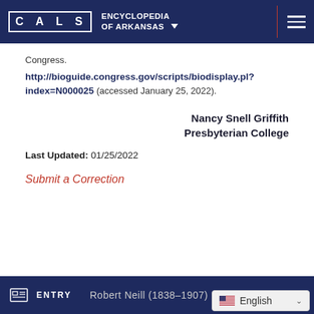CALS ENCYCLOPEDIA OF ARKANSAS
Congress.
http://bioguide.congress.gov/scripts/biodisplay.pl?index=N000025 (accessed January 25, 2022).
Nancy Snell Griffith
Presbyterian College
Last Updated: 01/25/2022
Submit a Correction
ENTRY  Robert Neill (1838–1907)